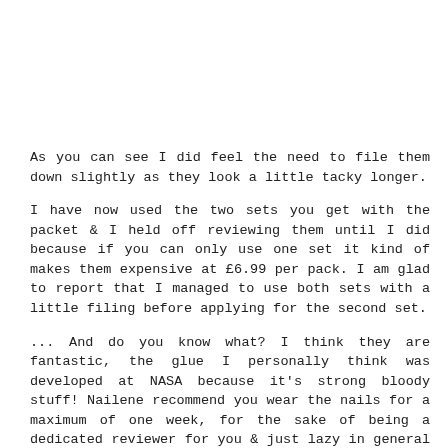As you can see I did feel the need to file them down slightly as they look a little tacky longer.
I have now used the two sets you get with the packet & I held off reviewing them until I did because if you can only use one set it kind of makes them expensive at £6.99 per pack. I am glad to report that I managed to use both sets with a little filing before applying for the second set.
... And do you know what? I think they are fantastic, the glue I personally think was developed at NASA because it's strong bloody stuff! Nailene recommend you wear the nails for a maximum of one week, for the sake of being a dedicated reviewer for you & just lazy in general I decided to see how long they lasted, I kept my 1st set on for 2 weeks & at that stage there wasn't even a sign that they were coming off, I had painted them & needed to redo the colour